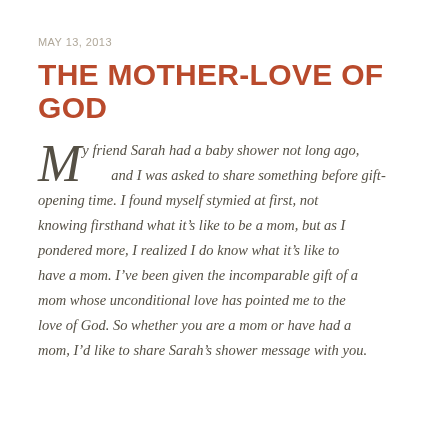MAY 13, 2013
THE MOTHER-LOVE OF GOD
My friend Sarah had a baby shower not long ago, and I was asked to share something before gift-opening time. I found myself stymied at first, not knowing firsthand what it’s like to be a mom, but as I pondered more, I realized I do know what it’s like to have a mom. I’ve been given the incomparable gift of a mom whose unconditional love has pointed me to the love of God. So whether you are a mom or have had a mom, I’d like to share Sarah’s shower message with you.